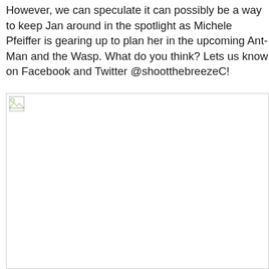However, we can speculate it can possibly be a way to keep Jan around in the spotlight as Michele Pfeiffer is gearing up to plan her in the upcoming Ant-Man and the Wasp. What do you think? Lets us know on Facebook and Twitter @shootthebreezeC!
[Figure (photo): A broken/missing image placeholder shown as a small broken image icon in the top-left corner of a large empty white image area.]